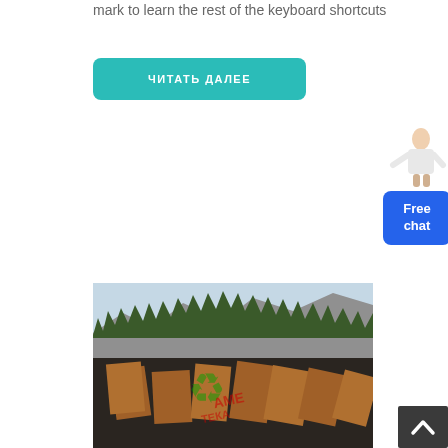mark to learn the rest of the keyboard shortcuts
ЧИТАТЬ ДАЛЕЕ
[Figure (photo): Photo of industrial mining equipment (ore bins/hoppers) in a quarry with a rocky cliff and forest treeline in the background. A green recycling symbol watermark and red text watermark are overlaid on the image.]
[Figure (other): Free chat widget with a person figure and blue chat button reading 'Free chat']
[Figure (other): Scroll-to-top button (dark square with upward chevron arrow)]